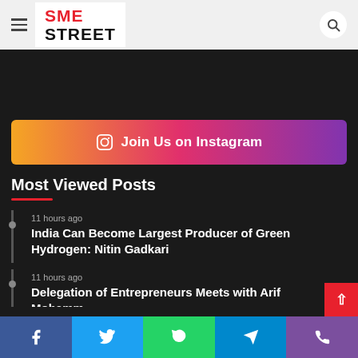SME STREET
[Figure (infographic): Dark advertisement area]
Join Us on Instagram
Most Viewed Posts
11 hours ago
India Can Become Largest Producer of Green Hydrogen: Nitin Gadkari
11 hours ago
[article title partially visible]